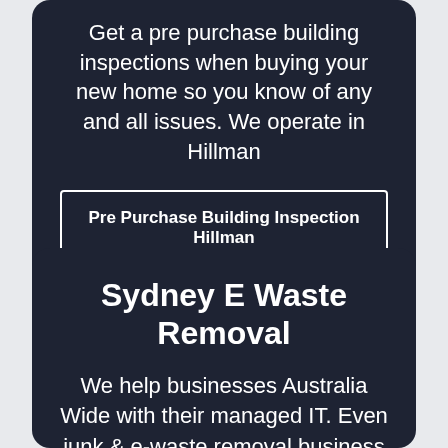Get a pre purchase building inspections when buying your new home so you know of any and all issues. We operate in Hillman
Pre Purchase Building Inspection Hillman
Sydney E Waste Removal
We help businesses Australia Wide with their managed IT. Even junk & e-waste removal business because they need secure, streamlined booking and billing systems.